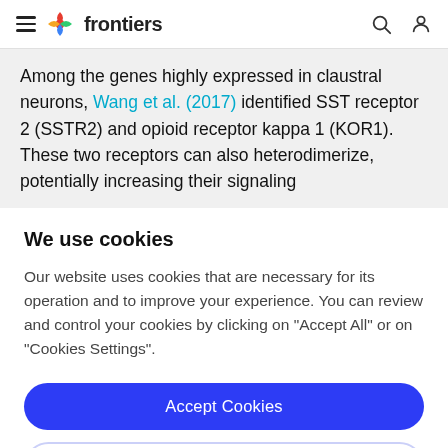frontiers
Among the genes highly expressed in claustral neurons, Wang et al. (2017) identified SST receptor 2 (SSTR2) and opioid receptor kappa 1 (KOR1). These two receptors can also heterodimerize, potentially increasing their signaling
We use cookies
Our website uses cookies that are necessary for its operation and to improve your experience. You can review and control your cookies by clicking on "Accept All" or on "Cookies Settings".
Accept Cookies
Cookies Settings